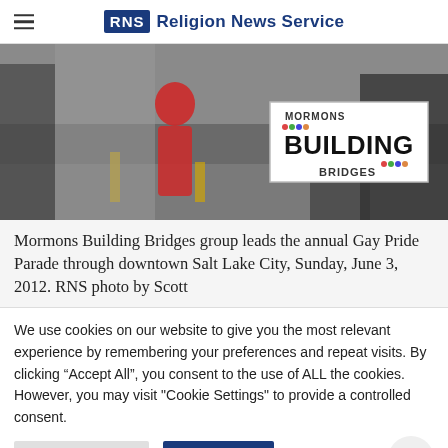RNS Religion News Service
[Figure (photo): People marching in Gay Pride Parade, one holding a white sign reading 'MORMONS BUILDING BRIDGES']
Mormons Building Bridges group leads the annual Gay Pride Parade through downtown Salt Lake City, Sunday, June 3, 2012. RNS photo by Scott
We use cookies on our website to give you the most relevant experience by remembering your preferences and repeat visits. By clicking "Accept All", you consent to the use of ALL the cookies. However, you may visit "Cookie Settings" to provide a controlled consent.
Cookie Settings | Accept All